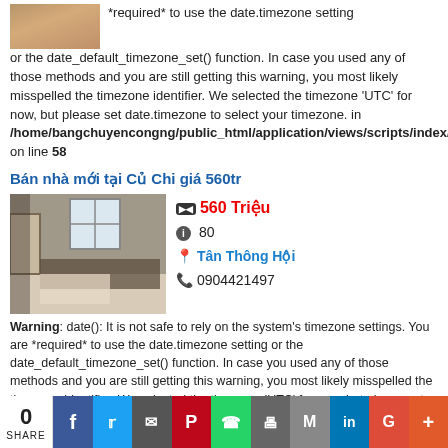[Figure (photo): Partial photo of a room/interior, cropped at top]
*required* to use the date.timezone setting or the date_default_timezone_set() function. In case you used any of those methods and you are still getting this warning, you most likely misspelled the timezone identifier. We selected the timezone 'UTC' for now, but please set date.timezone to select your timezone. in /home/bangchuyencongng/public_html/application/views/scripts/index/load on line 58
Bán nhà mới tại Củ Chi giá 560tr
[Figure (photo): Interior photo of a room showing windows, furniture and a doorway]
560 Triệu
80
Tân Thông Hội
0904421497
Warning: date(): It is not safe to rely on the system's timezone settings. You are *required* to use the date.timezone setting or the date_default_timezone_set() function. In case you used any of those methods and you are still getting this warning, you most likely misspelled the timezone identifier. We selected the timezone 'UTC' for now, but please set date.timezone to select your timezone. in
0 SHARE | Facebook | Twitter | Email | Pinterest | WhatsApp | Print | Gmail | LinkedIn | Google+ | More